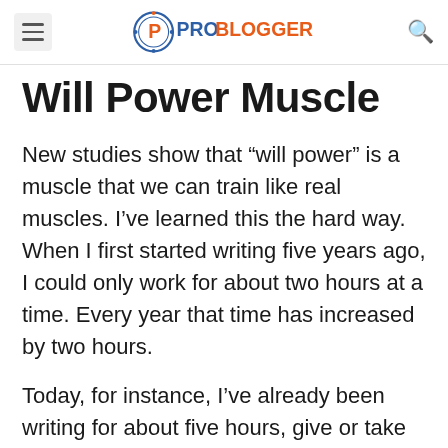ProBlogger
Will Power Muscle
New studies show that “will power” is a muscle that we can train like real muscles. I’ve learned this the hard way. When I first started writing five years ago, I could only work for about two hours at a time. Every year that time has increased by two hours.
Today, for instance, I’ve already been writing for about five hours, give or take some five minute breaks and a twenty minute walk. I’ll probably write for another four hours before…